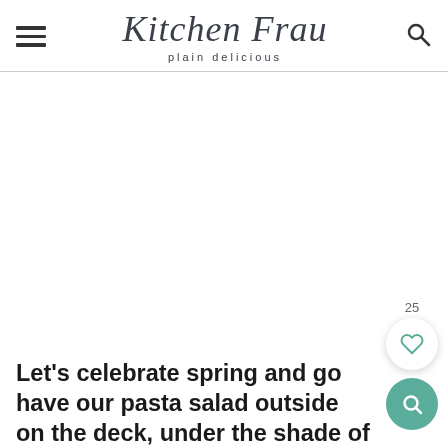Kitchen Frau — plain delicious
[Figure (other): Large image area (white/blank) occupying the central portion of the page below the header]
25
Let's celebrate spring and go have our pasta salad outside on the deck, under the shade of the linden trees, while we